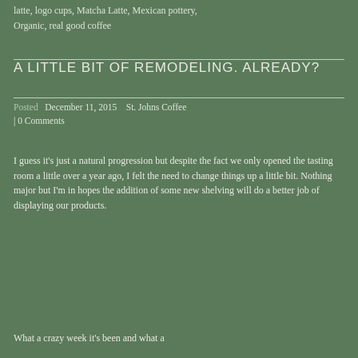latte, logo cups, Matcha Latte, Mexican pottery, Organic, real good coffee
A LITTLE BIT OF REMODELING. ALREADY?
December 11, 2015    St. Johns Coffee | 0 Comments
I guess it's just a natural progression but despite the fact we only opened the tasting room a little over a year ago, I felt the need to change things up a little bit. Nothing major but I'm in hopes the addition of some new shelving will do a better job of displaying our products.
What a crazy week it's been and what a